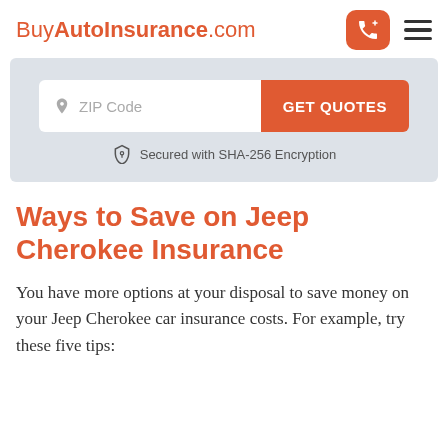BuyAutoInsurance.com
[Figure (screenshot): ZIP Code input field with GET QUOTES button and a secured SHA-256 encryption notice below]
Ways to Save on Jeep Cherokee Insurance
You have more options at your disposal to save money on your Jeep Cherokee car insurance costs. For example, try these five tips: